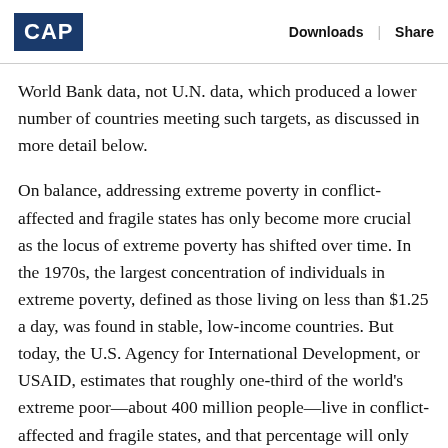CAP | Downloads | Share
World Bank data, not U.N. data, which produced a lower number of countries meeting such targets, as discussed in more detail below.
On balance, addressing extreme poverty in conflict-affected and fragile states has only become more crucial as the locus of extreme poverty has shifted over time. In the 1970s, the largest concentration of individuals in extreme poverty, defined as those living on less than $1.25 a day, was found in stable, low-income countries. But today, the U.S. Agency for International Development, or USAID, estimates that roughly one-third of the world's extreme poor—about 400 million people—live in conflict-affected and fragile states, and that percentage will only rise as we move closer to 2030. Indeed, with both China and India